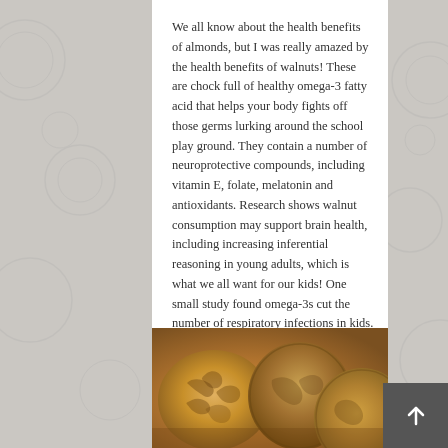We all know about the health benefits of almonds, but I was really amazed by the health benefits of walnuts!  These are chock full of healthy omega-3 fatty acid that helps your body fights off those germs lurking around the school play ground. They contain a number of neuroprotective compounds, including vitamin E, folate, melatonin and antioxidants. Research shows walnut consumption may support brain health, including increasing inferential reasoning in young adults, which is what we all want for our kids! One small study found omega-3s cut the number of respiratory infections in kids.
[Figure (photo): Close-up photo of walnuts, both shelled (showing the wrinkled walnut interior) and unshelled (showing the round brown shell), arranged together on a surface.]